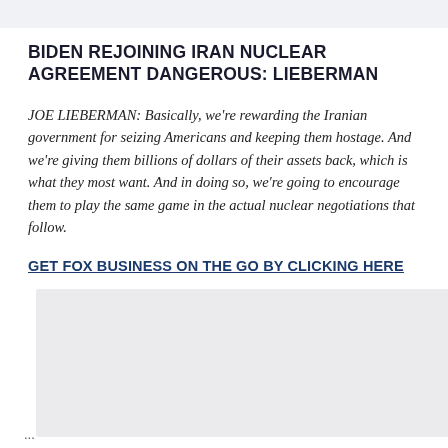BIDEN REJOINING IRAN NUCLEAR AGREEMENT DANGEROUS: LIEBERMAN
JOE LIEBERMAN: Basically, we're rewarding the Iranian government for seizing Americans and keeping them hostage. And we're giving them billions of dollars of their assets back, which is what they most want. And in doing so, we're going to encourage them to play the same game in the actual nuclear negotiations that follow.
GET FOX BUSINESS ON THE GO BY CLICKING HERE
[Figure (other): Gray placeholder box for an embedded media element or advertisement]
...